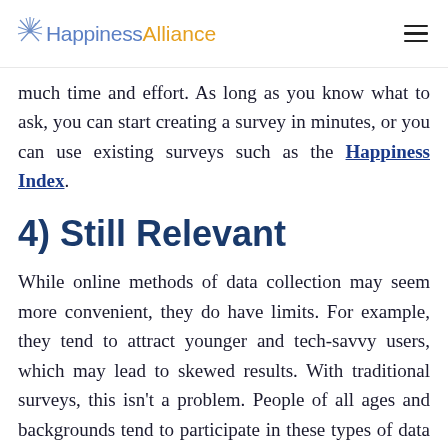HappinessAlliance
much time and effort. As long as you know what to ask, you can start creating a survey in minutes, or you can use existing surveys such as the Happiness Index.
4) Still Relevant
While online methods of data collection may seem more convenient, they do have limits. For example, they tend to attract younger and tech-savvy users, which may lead to skewed results. With traditional surveys, this isn't a problem. People of all ages and backgrounds tend to participate in these types of data gathering